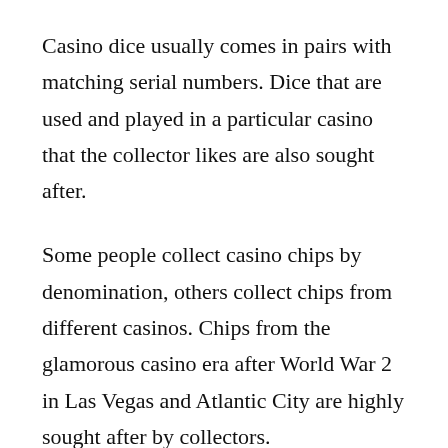Casino dice usually comes in pairs with matching serial numbers. Dice that are used and played in a particular casino that the collector likes are also sought after.
Some people collect casino chips by denomination, others collect chips from different casinos. Chips from the glamorous casino era after World War 2 in Las Vegas and Atlantic City are highly sought after by collectors.